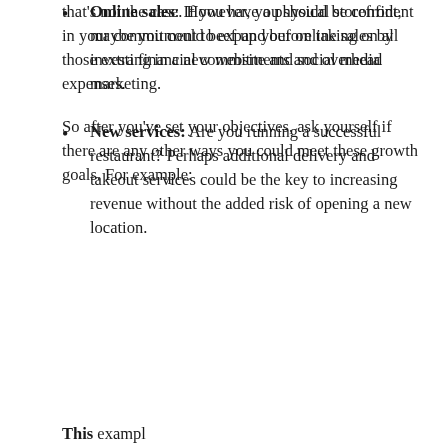that's not the case. However, you should be confident in your commitment to expand before taking on all those extra financial commitments and overhead expenses.
So after you've set your objectives, ask yourself if there are any other ways you could meet these growth goals. For example:
Online sales: If you have a physical storefront, maybe you could beef up your online sales by investing in a new website and social media marketing.
New services: Are you running a successful restaurant? Perhaps additional delivery and takeout services could be the key to increasing revenue without the added risk of opening a new location.
This example...